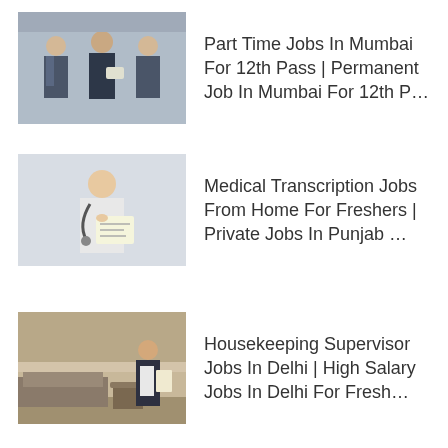[Figure (photo): Group of professionals standing and discussing, business setting]
Part Time Jobs In Mumbai For 12th Pass | Permanent Job In Mumbai For 12th P…
[Figure (photo): Medical professional with stethoscope writing on clipboard]
Medical Transcription Jobs From Home For Freshers | Private Jobs In Punjab …
[Figure (photo): Housekeeping supervisor standing in a hotel room with clipboard]
Housekeeping Supervisor Jobs In Delhi | High Salary Jobs In Delhi For Fresh…
[Figure (photo): Young man with glasses working on laptop]
Private Jobs In Delhi For Freshers 12th Pass | Freelance Subject Matter Exp…